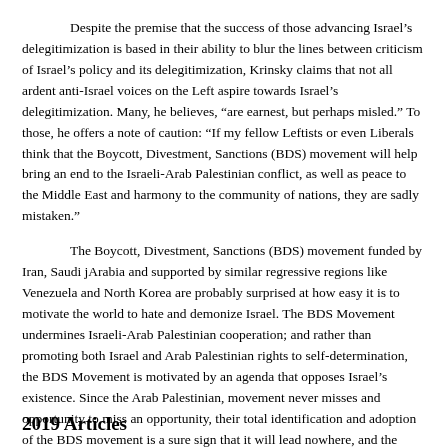Despite the premise that the success of those advancing Israel's delegitimization is based in their ability to blur the lines between criticism of Israel's policy and its delegitimization, Krinsky claims that not all ardent anti-Israel voices on the Left aspire towards Israel's delegitimization. Many, he believes, "are earnest, but perhaps misled." To those, he offers a note of caution: "If my fellow Leftists or even Liberals think that the Boycott, Divestment, Sanctions (BDS) movement will help bring an end to the Israeli-Arab Palestinian conflict, as well as peace to the Middle East and harmony to the community of nations, they are sadly mistaken."
The Boycott, Divestment, Sanctions (BDS) movement funded by Iran, Saudi jArabia and supported by similar regressive regions like Venezuela and North Korea are probably surprised at how easy it is to motivate the world to hate and demonize Israel. The BDS Movement undermines Israeli-Arab Palestinian cooperation; and rather than promoting both Israel and Arab Palestinian rights to self-determination, the BDS Movement is motivated by an agenda that opposes Israel's existence. Since the Arab Palestinian, movement never misses and opportunity to miss an opportunity, their total identification and adoption of the BDS movement is a sure sign that it will lead nowhere, and the Arab Palestinians will have yet another opportunity to claim their exclusivity of eternal victim hood.
2019 Articles